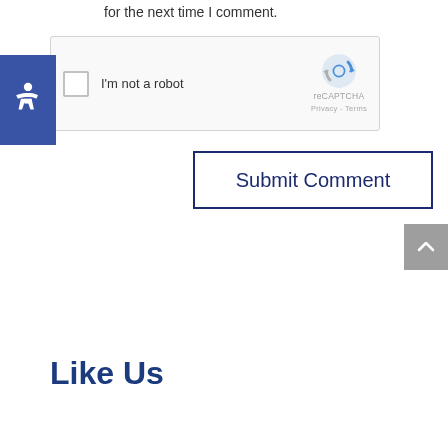for the next time I comment.
[Figure (screenshot): reCAPTCHA widget with checkbox labeled 'I'm not a robot' and reCAPTCHA logo with Privacy and Terms links]
[Figure (screenshot): Submit Comment button with dark navy border]
[Figure (screenshot): Gray scroll-to-top button with upward caret arrow]
Like Us